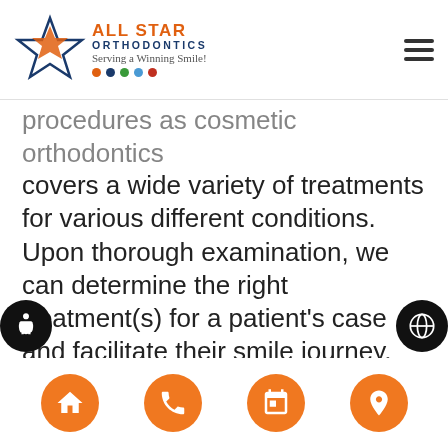All Star Orthodontics – Serving a Winning Smile!
procedures as cosmetic orthodontics covers a wide variety of treatments for various different conditions. Upon thorough examination, we can determine the right treatment(s) for a patient's case and facilitate their smile journey, from functionality to aesthetics, to help them achieve the smile they desire.
A few of the cosmetic treatments that we can perform are cosmetic tooth bonding and cosmetic orthodontic treatments. Cosmetic tooth bonding is a procedure in which tooth-colored materials are fused or
Home | Phone | Calendar | Location